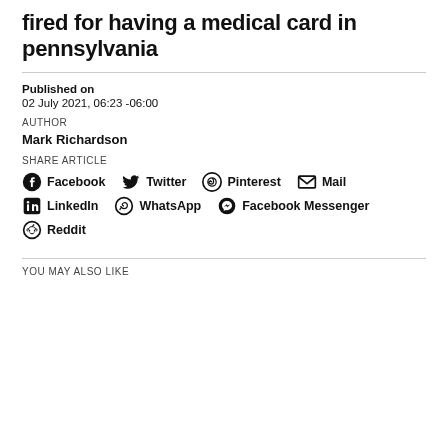fired for having a medical card in pennsylvania
Published on
02 July 2021, 06:23 -06:00
AUTHOR
Mark Richardson
SHARE ARTICLE
Facebook  Twitter  Pinterest  Mail  LinkedIn  WhatsApp  Facebook Messenger  Reddit
YOU MAY ALSO LIKE